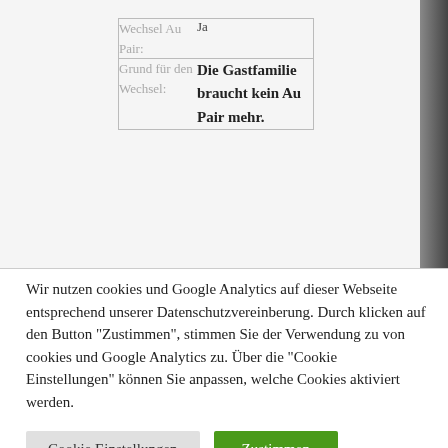|  |  |
| --- | --- |
| Wechsel Au Pair: | Ja |
| Grund für den Wechsel: | Die Gastfamilie braucht kein Au Pair mehr. |
Wir nutzen cookies und Google Analytics auf dieser Webseite entsprechend unserer Datenschutzvereinberung. Durch klicken auf den Button "Zustimmen", stimmen Sie der Verwendung zu von cookies und Google Analytics zu. Über die "Cookie Einstellungen" können Sie anpassen, welche Cookies aktiviert werden.
Cookie Einstellungen | Zustimmen